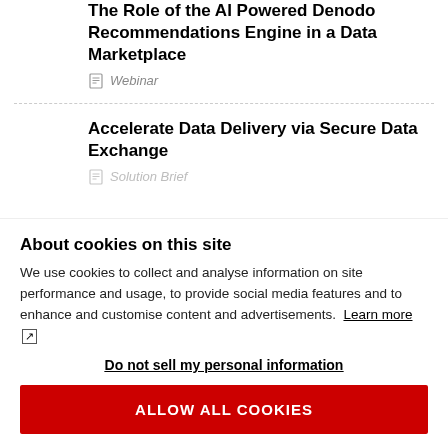The Role of the AI Powered Denodo Recommendations Engine in a Data Marketplace
Webinar
Accelerate Data Delivery via Secure Data Exchange
Solution Brief
About cookies on this site
We use cookies to collect and analyse information on site performance and usage, to provide social media features and to enhance and customise content and advertisements. Learn more
Do not sell my personal information
ALLOW ALL COOKIES